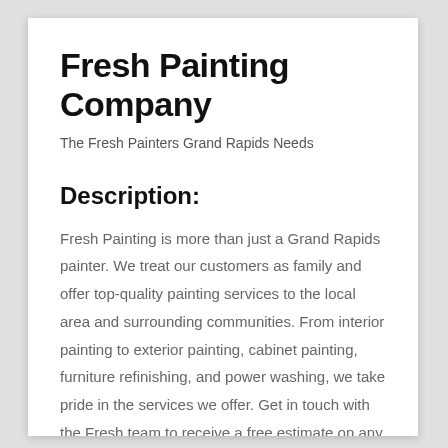Fresh Painting Company
The Fresh Painters Grand Rapids Needs
Description:
Fresh Painting is more than just a Grand Rapids painter. We treat our customers as family and offer top-quality painting services to the local area and surrounding communities. From interior painting to exterior painting, cabinet painting, furniture refinishing, and power washing, we take pride in the services we offer. Get in touch with the Fresh team to receive a free estimate on any painting service you need. With over 10 years of experience serving the Grand Rapids area, our customer satisfaction is guaranteed. We can help